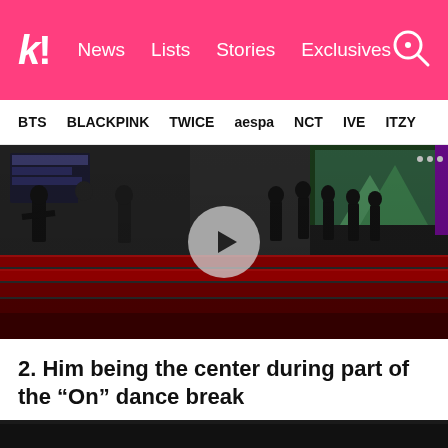k! News Lists Stories Exclusives
BTS BLACKPINK TWICE aespa NCT IVE ITZY
[Figure (screenshot): Video thumbnail showing BTS members performing on a red staircase stage in Times Square, with a play button overlay in the center]
2. Him being the center during part of the “On” dance break
He ate and left no crumbs!
[Figure (screenshot): Bottom strip of a dark image, partially visible]